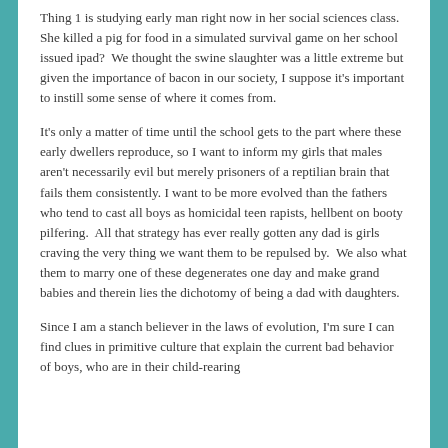Thing 1 is studying early man right now in her social sciences class.  She killed a pig for food in a simulated survival game on her school issued ipad?  We thought the swine slaughter was a little extreme but given the importance of bacon in our society, I suppose it's important to instill some sense of where it comes from.
It's only a matter of time until the school gets to the part where these early dwellers reproduce, so I want to inform my girls that males aren't necessarily evil but merely prisoners of a reptilian brain that fails them consistently. I want to be more evolved than the fathers who tend to cast all boys as homicidal teen rapists, hellbent on booty pilfering.  All that strategy has ever really gotten any dad is girls craving the very thing we want them to be repulsed by.  We also what them to marry one of these degenerates one day and make grand babies and therein lies the dichotomy of being a dad with daughters.
Since I am a stanch believer in the laws of evolution, I'm sure I can find clues in primitive culture that explain the current bad behavior of boys, who are in their child-rearing...